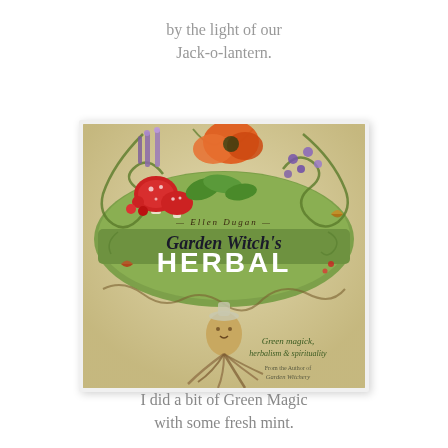by the light of our
Jack-o-lantern.
[Figure (illustration): Book cover of 'Garden Witch's Herbal' by Ellen Dugan. Illustrated cover showing a green banner with decorative vines and swirls, red mushrooms, lavender flowers, an orange poppy, purple flowers, butterflies, and a mandrake root figure at the bottom. Text reads: ELLEN DUGAN / Garden Witch's / HERBAL / Green magick, herbalism & spirituality / From the Author of Garden Witchery]
I did a bit of Green Magic
with some fresh mint.